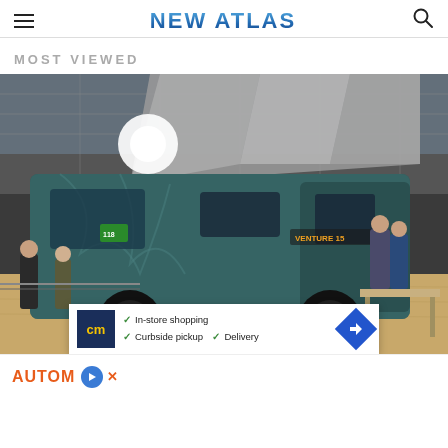NEW ATLAS
MOST VIEWED
[Figure (photo): A teal/dark green camper van with pop-up roof displayed at an indoor exhibition hall, with visitors and bright lighting visible in the background]
AUTOM
[Figure (infographic): Advertisement banner showing cm logo with checkmarks for In-store shopping, Curbside pickup, and Delivery options with a navigation/directions icon]